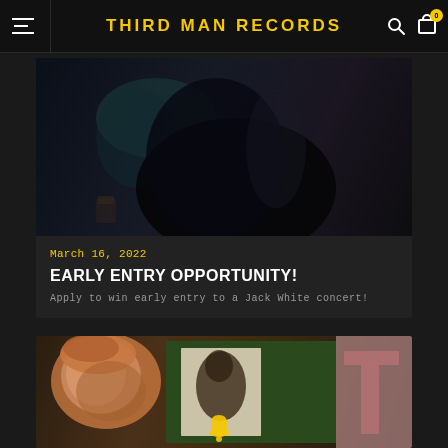THIRD MAN RECORDS
[Figure (photo): Dark moody photo showing what appears to be someone in black clothing in a dimly lit setting]
March 16, 2022
EARLY ENTRY OPPORTUNITY!
Apply to win early entry to a Jack White concert!
[Figure (photo): Warm-toned photo showing a person's face on the left, a green album/record display in the center, and a pink letter T on the right, with a bell/notification icon at the bottom]